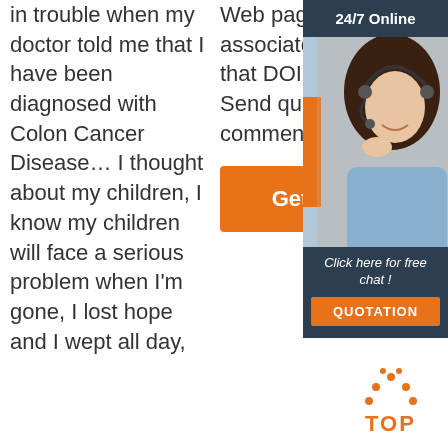in trouble when my doctor told me that I have been diagnosed with Colon Cancer Disease… I thought about my children, I know my children will face a serious problem when I'm gone, I lost hope and I wept all day,
Web page (URL) associated with that DOI name. Send questions or comments to doi ...
[Figure (other): Orange 'Get Price' button]
[Figure (other): Sidebar advertisement with '24/7 Online' header, woman with headset, 'Click here for free chat!' text, and orange QUOTATION button]
[Figure (other): Orange dotted 'TOP' back-to-top button arrow icon]